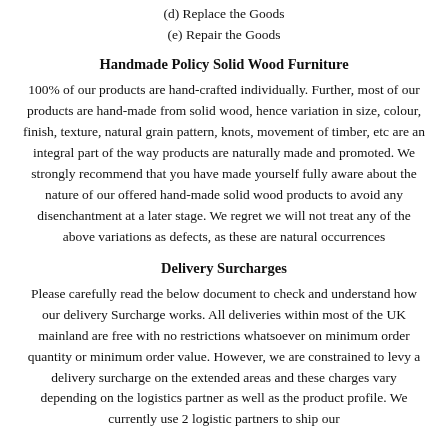(d) Replace the Goods
(e) Repair the Goods
Handmade Policy Solid Wood Furniture
100% of our products are hand-crafted individually. Further, most of our products are hand-made from solid wood, hence variation in size, colour, finish, texture, natural grain pattern, knots, movement of timber, etc are an integral part of the way products are naturally made and promoted. We strongly recommend that you have made yourself fully aware about the nature of our offered hand-made solid wood products to avoid any disenchantment at a later stage. We regret we will not treat any of the above variations as defects, as these are natural occurrences
Delivery Surcharges
Please carefully read the below document to check and understand how our delivery Surcharge works. All deliveries within most of the UK mainland are free with no restrictions whatsoever on minimum order quantity or minimum order value. However, we are constrained to levy a delivery surcharge on the extended areas and these charges vary depending on the logistics partner as well as the product profile. We currently use 2 logistic partners to ship our